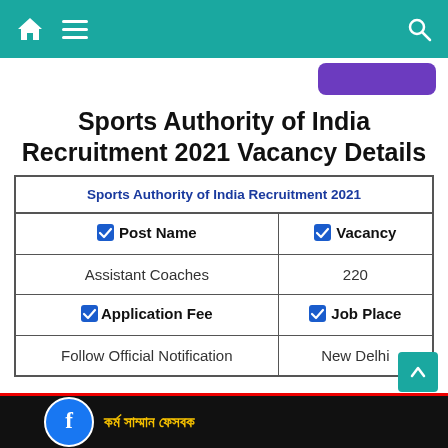Sports Authority of India Recruitment 2021 Vacancy Details — navigation bar
Sports Authority of India Recruitment 2021 Vacancy Details
| Sports Authority of India Recruitment 2021 |
| --- |
| Post Name | Vacancy |
| Assistant Coaches | 220 |
| Application Fee | Job Place |
| Follow Official Notification | New Delhi |
[Figure (other): Facebook page promotional banner in Bengali script at bottom of page]